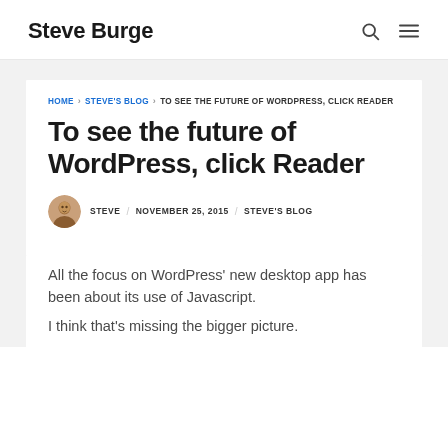Steve Burge
HOME › STEVE'S BLOG › TO SEE THE FUTURE OF WORDPRESS, CLICK READER
To see the future of WordPress, click Reader
STEVE / NOVEMBER 25, 2015 / STEVE'S BLOG
All the focus on WordPress' new desktop app has been about its use of Javascript.
I think that's missing the bigger picture.